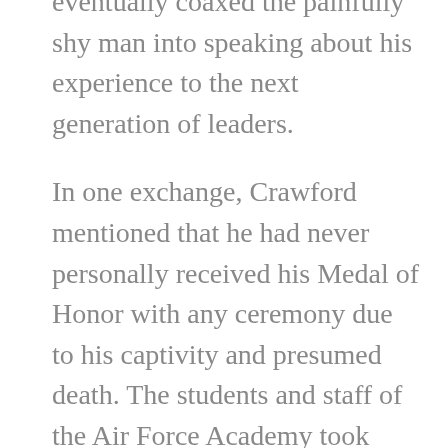eventually coaxed the painfully shy man into speaking about his experience to the next generation of leaders.
In one exchange, Crawford mentioned that he had never personally received his Medal of Honor with any ceremony due to his captivity and presumed death. The students and staff of the Air Force Academy took note and made plans for him to have his day.